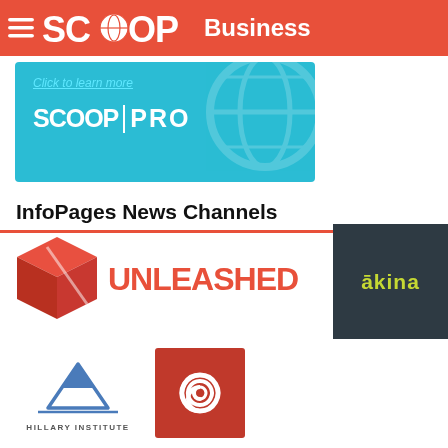SCOOP Business
[Figure (logo): ScoopPro banner with 'Click to learn more' link and SCOOP PRO logo on teal background]
InfoPages News Channels
[Figure (logo): Unleashed logo — red 3D cube icon with 'UNLEASHED' text in red]
[Figure (logo): Akina logo — white 'akina' text with macron on dark slate background]
[Figure (logo): Hillary Institute logo — mountain/tent icon with 'HILLARY INSTITUTE' text]
[Figure (logo): Red square logo with white spiral/swirl icon]